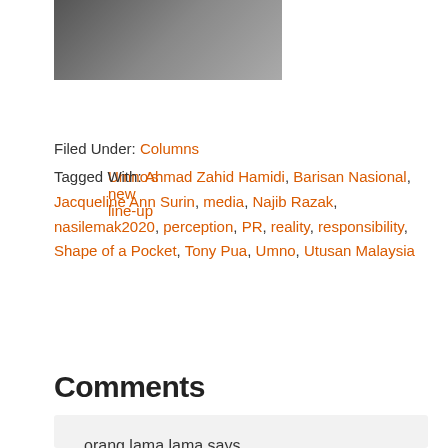[Figure (photo): Partial photo of people smiling, cropped at top]
Umno's new line-up
Filed Under: Columns
Tagged With: Ahmad Zahid Hamidi, Barisan Nasional, Jacqueline Ann Surin, media, Najib Razak, nasilemak2020, perception, PR, reality, responsibility, Shape of a Pocket, Tony Pua, Umno, Utusan Malaysia
Comments
orang lama lama says
June 21, 2011 at 9:56 pm